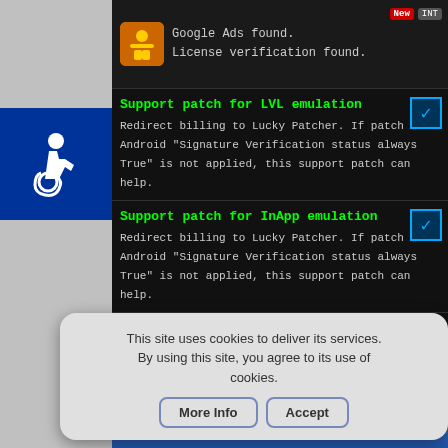[Figure (screenshot): Android app screenshot showing Lucky Patcher patch options list on a dark background]
Google Ads found.
License verification found.
Support patch for LVL emulation
Redirect billing to Lucky Patcher. If patch to Android "Signature Verification status always True" is not applied, this support patch can help.
Support patch for InApp emulation
Redirect billing to Lucky Patcher. If patch to Android "Signature Verification status always True" is not applied, this support patch can help.
Intent broadcast for all
Make all Intents to application is for all applications. Useful for applications that refuse to work with emulation. Warrning: this App will spam their Intents. If the patch does not help, you must remove it.
Backup .apk file
Will copy the application package file to Lucky Patcher's folder... the applicatio...
This site uses cookies to deliver its services. By using this site, you agree to its use of cookies.
More Info
Accept